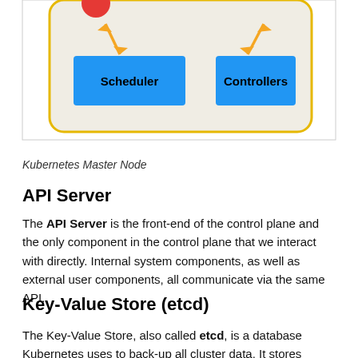[Figure (schematic): Partial diagram of Kubernetes Master Node showing Scheduler and Controllers boxes (blue rectangles) with orange bidirectional arrows, inside a beige rounded rectangle with gold border. Top of diagram is cropped.]
Kubernetes Master Node
API Server
The API Server is the front-end of the control plane and the only component in the control plane that we interact with directly. Internal system components, as well as external user components, all communicate via the same API.
Key-Value Store (etcd)
The Key-Value Store, also called etcd, is a database Kubernetes uses to back-up all cluster data. It stores